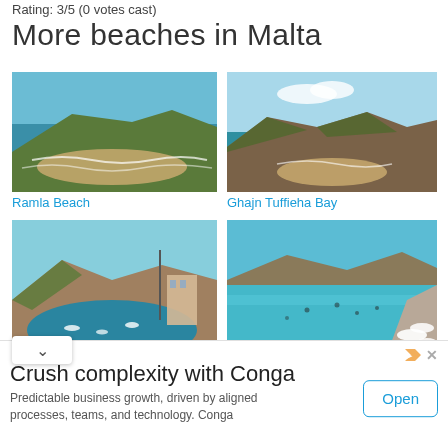Rating: 3/5 (0 votes cast)
More beaches in Malta
[Figure (photo): Aerial view of Ramla Beach, Malta – red sandy bay surrounded by green hills and turquoise sea]
Ramla Beach
[Figure (photo): Aerial view of Ghajn Tuffieha Bay, Malta – curved beach with rocky cliffs and clear blue water]
Ghajn Tuffieha Bay
[Figure (photo): View of a sheltered bay in Malta with boats and hotel buildings on the hillside]
[Figure (photo): Clear turquoise water beach in Malta with people swimming and white beach umbrellas]
Crush complexity with Conga
Predictable business growth, driven by aligned processes, teams, and technology. Conga